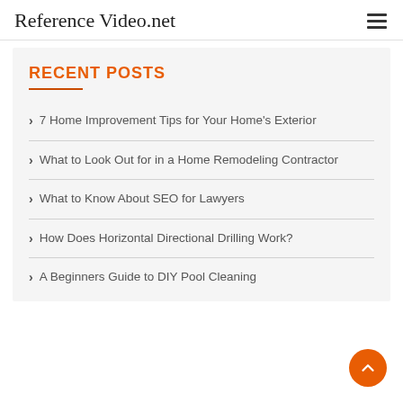Reference Video.net
RECENT POSTS
7 Home Improvement Tips for Your Home's Exterior
What to Look Out for in a Home Remodeling Contractor
What to Know About SEO for Lawyers
How Does Horizontal Directional Drilling Work?
A Beginners Guide to DIY Pool Cleaning